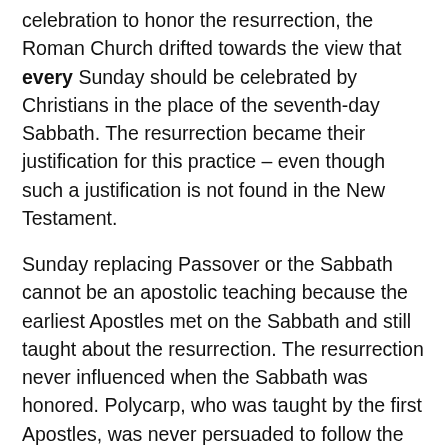celebration to honor the resurrection, the Roman Church drifted towards the view that every Sunday should be celebrated by Christians in the place of the seventh-day Sabbath. The resurrection became their justification for this practice – even though such a justification is not found in the New Testament.
Sunday replacing Passover or the Sabbath cannot be an apostolic teaching because the earliest Apostles met on the Sabbath and still taught about the resurrection. The resurrection never influenced when the Sabbath was honored. Polycarp, who was taught by the first Apostles, was never persuaded to follow the practice of Rome.
The fourth factor that influenced the Sabbath in the early Church was anti-Semitism. It was tightly